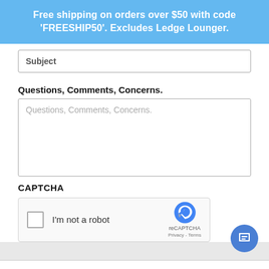Free shipping on orders over $50 with code 'FREESHIP50'. Excludes Ledge Lounger.
Subject
Questions, Comments, Concerns.
Questions, Comments, Concerns.
CAPTCHA
[Figure (other): reCAPTCHA widget with checkbox labeled 'I'm not a robot' and reCAPTCHA logo with Privacy and Terms links]
[Figure (other): Blue circular chat button with message icon in bottom right corner]